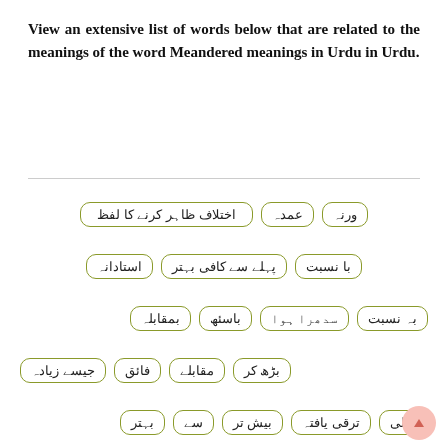View an extensive list of words below that are related to the meanings of the word Meandered meanings in Urdu in Urdu.
[Figure (other): A collection of Urdu word tags displayed as rounded-rectangle badge labels arranged in rows: اختلاف ظاہر کرنے کا لفظ, عمدہ, ورنہ, استادانہ, پہلے سے کافی بہتر, با نسبت, بہ نسبت, سدھرا ہوا, باسئھ, بمقابلہ, بڑھ کر, مقابلے, فائق, جیسے زیادہ, عالی, ترقی یافتہ, بیش تر, سے, بہتر, اصلاحی]